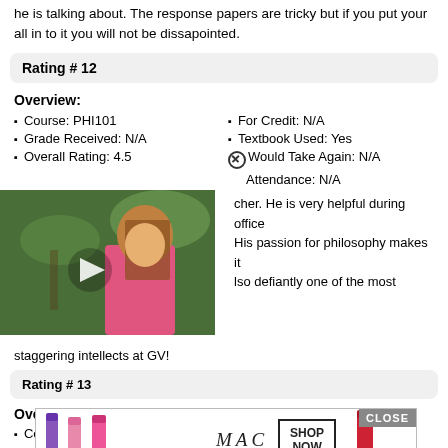he is talking about. The response papers are tricky but if you put your all in to it you will not be dissapointed.
Rating # 12
Overview:
Course: PHI101
For Credit: N/A
Grade Received: N/A
Textbook Used: Yes
Overall Rating: 4.5
Would Take Again: N/A
Attendance: N/A
[Figure (photo): Video overlay showing a girl in a pink shirt with play button, partially overlapping review text]
cher. He is very helpful during office His passion for philosophy makes it lso defiantly one of the most staggering intellects at GV!
Rating # 13
Overview:
Co...
[Figure (photo): MAC cosmetics advertisement showing lipsticks with CLOSE button and SHOP NOW button]